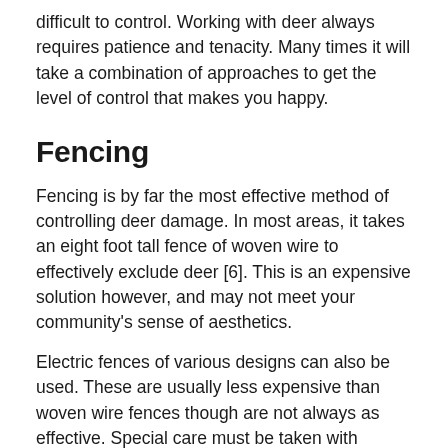difficult to control. Working with deer always requires patience and tenacity. Many times it will take a combination of approaches to get the level of control that makes you happy.
Fencing
Fencing is by far the most effective method of controlling deer damage. In most areas, it takes an eight foot tall fence of woven wire to effectively exclude deer [6]. This is an expensive solution however, and may not meet your community's sense of aesthetics.
Electric fences of various designs can also be used. These are usually less expensive than woven wire fences though are not always as effective. Special care must be taken with children around electric fences. Even though electric fences have a good safety record, your child will surely let you know if he or she gets shocked!